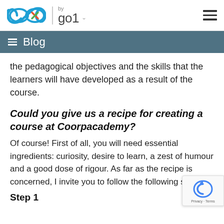by go1 [logo header with hamburger menu]
Blog
the pedagogical objectives and the skills that the learners will have developed as a result of the course.
Could you give us a recipe for creating a course at Coorpacademy?
Of course! First of all, you will need essential ingredients: curiosity, desire to learn, a zest of humour and a good dose of rigour. As far as the recipe is concerned, I invite you to follow the following steps:
Step 1